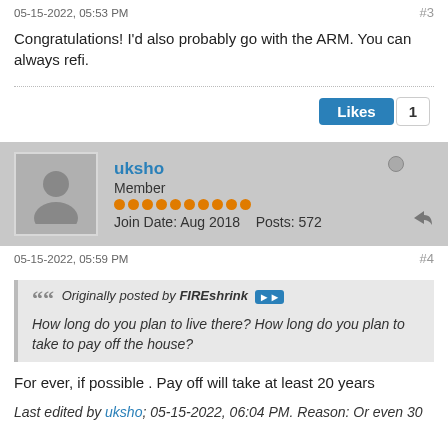05-15-2022, 05:53 PM   #3
Congratulations! I'd also probably go with the ARM. You can always refi.
Likes  1
uksho
Member
Join Date: Aug 2018   Posts: 572
05-15-2022, 05:59 PM   #4
Originally posted by FIREshrink
How long do you plan to live there? How long do you plan to take to pay off the house?
For ever, if possible . Pay off will take at least 20 years
Last edited by uksho; 05-15-2022, 06:04 PM. Reason: Or even 30